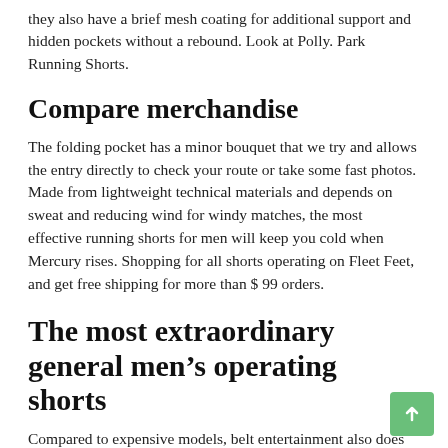they also have a brief mesh coating for additional support and hidden pockets without a rebound. Look at Polly. Park Running Shorts.
Compare merchandise
The folding pocket has a minor bouquet that we try and allows the entry directly to check your route or take some fast photos. Made from lightweight technical materials and depends on sweat and reducing wind for windy matches, the most effective running shorts for men will keep you cold when Mercury rises. Shopping for all shorts operating on Fleet Feet, and get free shipping for more than $ 99 orders.
The most extraordinary general men’s operating shorts
Compared to expensive models, belt entertainment also does not accept the highest score. This mannequin in the